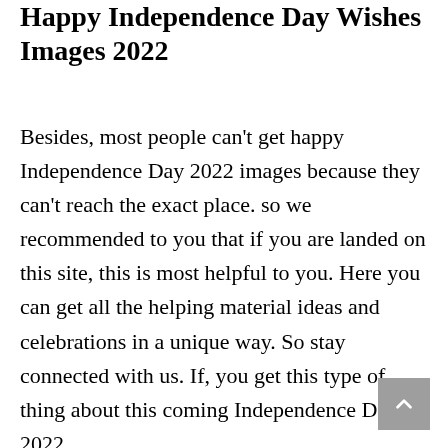Happy Independence Day Wishes Images 2022
Besides, most people can’t get happy Independence Day 2022 images because they can’t reach the exact place. so we recommended to you that if you are landed on this site, this is most helpful to you. Here you can get all the helping material ideas and celebrations in a unique way. So stay connected with us. If, you get this type of thing about this coming Independence Day 2022.